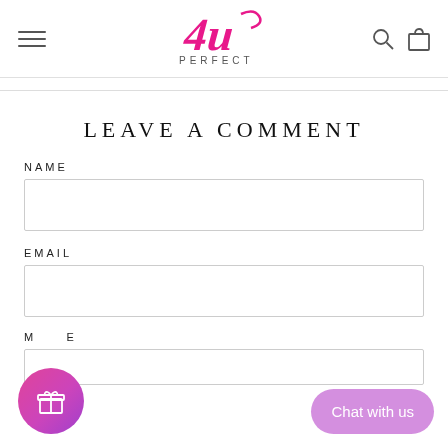[Figure (logo): 4U Perfect logo with pink stylized '4U' and 'PERFECT' text below]
LEAVE A COMMENT
NAME
EMAIL
MESSAGE